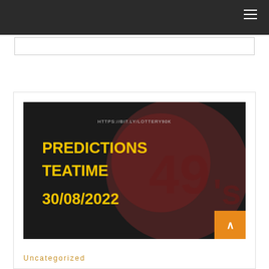Navigation header bar with hamburger menu
[Figure (screenshot): Search input box area]
[Figure (photo): Thumbnail image with dark background showing text: HTTPS://BIT.LY/LOTTERY90K, PREDICTIONS TEATIME 30/08/2022, and 49's logo in red/maroon lottery ball style]
Uncategorized